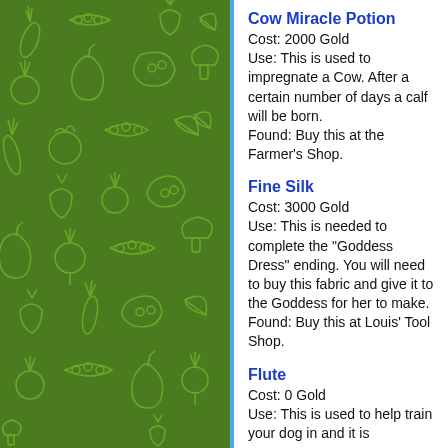[Figure (illustration): Green background with light green outline drawings of various vegetables and fruits (carrots, peas, strawberries, pears, tomatoes, leaves, etc.) in a repeating pattern.]
Cow Miracle Potion
Cost: 2000 Gold
Use: This is used to impregnate a Cow. After a certain number of days a calf will be born.
Found: Buy this at the Farmer's Shop.
Fine Silk
Cost: 3000 Gold
Use: This is needed to complete the "Goddess Dress" ending. You will need to buy this fabric and give it to the Goddess for her to make.
Found: Buy this at Louis' Tool Shop.
Flute
Cost: 0 Gold
Use: This is used to help train your dog in and it is